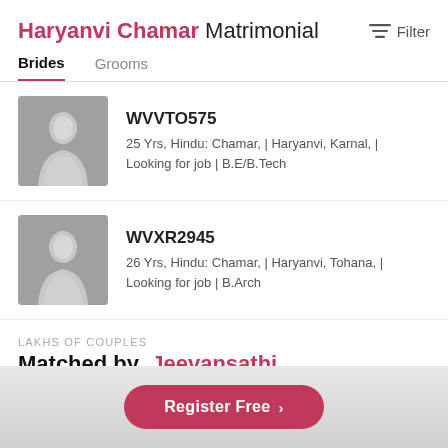Haryanvi Chamar Matrimonial
Filter
Brides	Grooms
WVVTO575
25 Yrs, Hindu: Chamar, | Haryanvi, Karnal, | Looking for job | B.E/B.Tech
WVXR2945
26 Yrs, Hindu: Chamar, | Haryanvi, Tohana, | Looking for job | B.Arch
LAKHS OF COUPLES
Matched by  Jeevansathi
Register Free  >